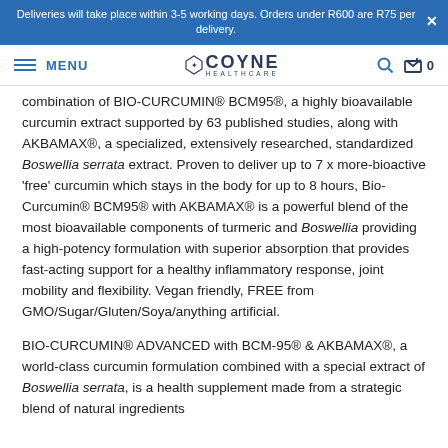Deliveries will take place within 3-5 working days. Orders under R600 are R75 per delivery.
MENU | COYNE HEALTHCARE | Search | Cart 0
combination of BIO-CURCUMIN® BCM95®, a highly bioavailable curcumin extract supported by 63 published studies, along with AKBAMAX®, a specialized, extensively researched, standardized Boswellia serrata extract. Proven to deliver up to 7 x more-bioactive 'free' curcumin which stays in the body for up to 8 hours, Bio-Curcumin® BCM95® with AKBAMAX® is a powerful blend of the most bioavailable components of turmeric and Boswellia providing a high-potency formulation with superior absorption that provides fast-acting support for a healthy inflammatory response, joint mobility and flexibility. Vegan friendly, FREE from GMO/Sugar/Gluten/Soya/anything artificial.
BIO-CURCUMIN® ADVANCED with BCM-95® & AKBAMAX®, a world-class curcumin formulation combined with a special extract of Boswellia serrata, is a health supplement made from a strategic blend of natural ingredients